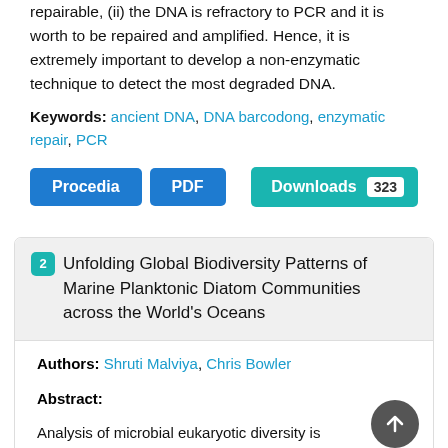repairable, (ii) the DNA is refractory to PCR and it is worth to be repaired and amplified. Hence, it is extremely important to develop a non-enzymatic technique to detect the most degraded DNA.
Keywords: ancient DNA, DNA barcodong, enzymatic repair, PCR
Procedia | PDF | Downloads 323
2 Unfolding Global Biodiversity Patterns of Marine Planktonic Diatom Communities across the World's Oceans
Authors: Shruti Malviya, Chris Bowler
Abstract:
Analysis of microbial eukaryotic diversity is